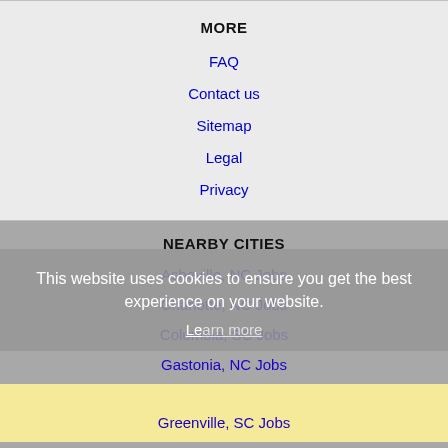MORE
FAQ
Contact us
Sitemap
Legal
Privacy
NEARBY CITIES
Asheville, NC Jobs
Charlotte, NC Jobs
Columbia, SC Jobs
Gastonia, NC Jobs
Greenville, SC Jobs
Hickory, NC Jobs
High Point, NC Jobs
This website uses cookies to ensure you get the best experience on our website.